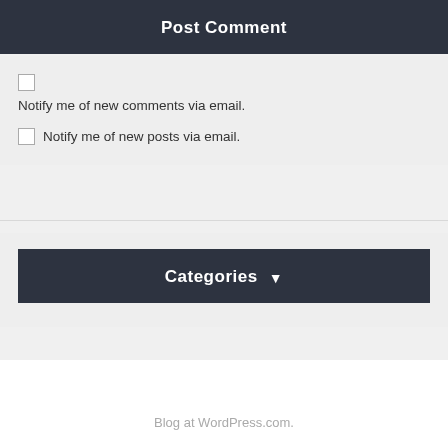Post Comment
Notify me of new comments via email.
Notify me of new posts via email.
Categories
Blog at WordPress.com.